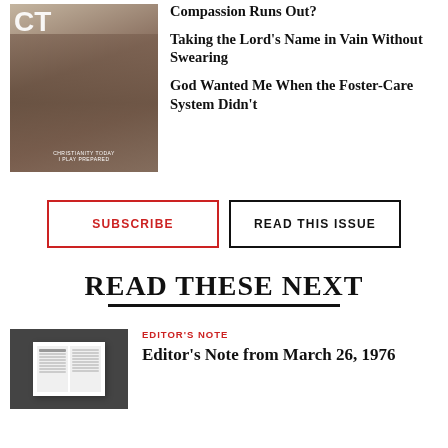[Figure (photo): Magazine cover of Christianity Today with overhead view of people at a market or craft fair]
Compassion Runs Out?
Taking the Lord's Name in Vain Without Swearing
God Wanted Me When the Foster-Care System Didn't
SUBSCRIBE
READ THIS ISSUE
READ THESE NEXT
[Figure (photo): Open book/magazine spread on dark background]
EDITOR'S NOTE
Editor's Note from March 26, 1976